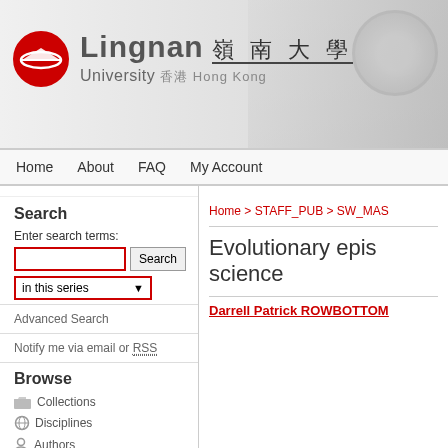[Figure (logo): Lingnan University logo with red circle icon and bilingual text in English and Chinese]
Home   About   FAQ   My Account
Search
Enter search terms:
in this series
Advanced Search
Notify me via email or RSS
Browse
Collections
Disciplines
Authors
Home > STAFF_PUB > SW_MAS
Evolutionary epis science
Darrell Patrick ROWBOTTOM